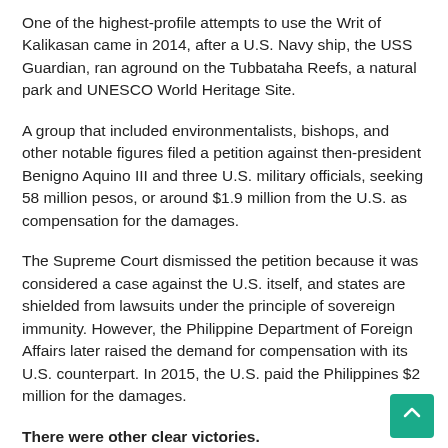One of the highest-profile attempts to use the Writ of Kalikasan came in 2014, after a U.S. Navy ship, the USS Guardian, ran aground on the Tubbataha Reefs, a natural park and UNESCO World Heritage Site.
A group that included environmentalists, bishops, and other notable figures filed a petition against then-president Benigno Aquino III and three U.S. military officials, seeking 58 million pesos, or around $1.9 million from the U.S. as compensation for the damages.
The Supreme Court dismissed the petition because it was considered a case against the U.S. itself, and states are shielded from lawsuits under the principle of sovereign immunity. However, the Philippine Department of Foreign Affairs later raised the demand for compensation with its U.S. counterpart. In 2015, the U.S. paid the Philippines $2 million for the damages.
There were other clear victories.